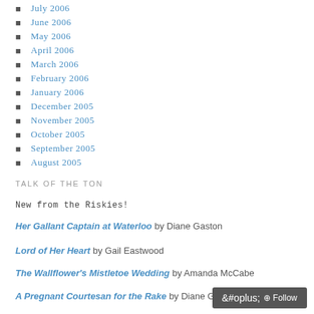July 2006
June 2006
May 2006
April 2006
March 2006
February 2006
January 2006
December 2005
November 2005
October 2005
September 2005
August 2005
TALK OF THE TON
New from the Riskies!
Her Gallant Captain at Waterloo by Diane Gaston
Lord of Her Heart by Gail Eastwood
The Wallflower's Mistletoe Wedding by Amanda McCabe
A Pregnant Courtesan for the Rake by Diane Gaston